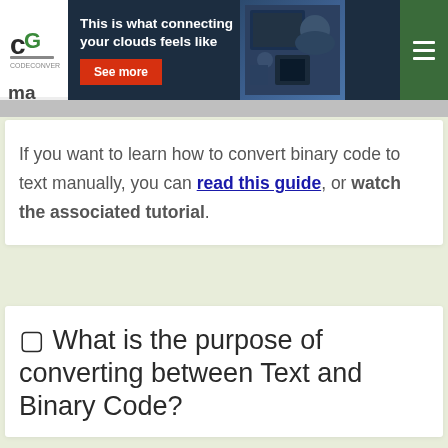[Figure (screenshot): Advertisement banner: dark background with text 'This is what connecting your clouds feels like' and a red 'See more' button, with a photo of a person at a computer on the right.]
ma
If you want to learn how to convert binary code to text manually, you can read this guide, or watch the associated tutorial.
⬛ What is the purpose of converting between Text and Binary Code?